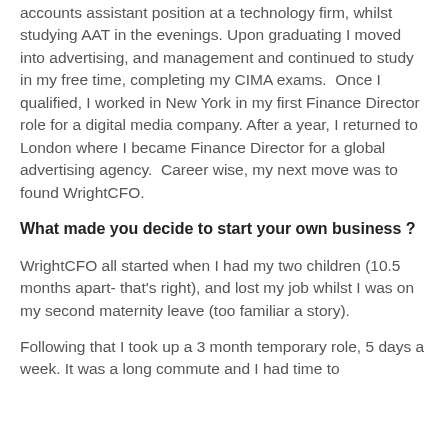accounts assistant position at a technology firm, whilst studying AAT in the evenings. Upon graduating I moved into advertising, and management and continued to study in my free time, completing my CIMA exams.  Once I qualified, I worked in New York in my first Finance Director role for a digital media company. After a year, I returned to London where I became Finance Director for a global advertising agency.  Career wise, my next move was to found WrightCFO.
What made you decide to start your own business ?
WrightCFO all started when I had my two children (10.5 months apart- that's right), and lost my job whilst I was on my second maternity leave (too familiar a story).
Following that I took up a 3 month temporary role, 5 days a week. It was a long commute and I had time to